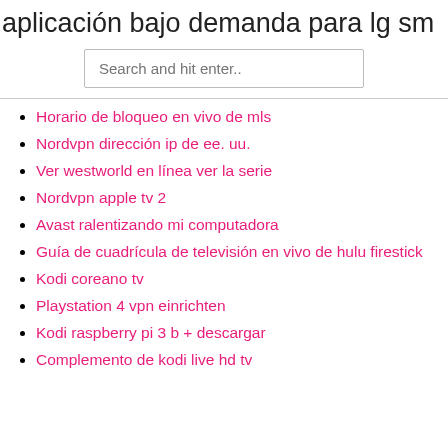aplicación bajo demanda para lg sm
Search and hit enter..
Horario de bloqueo en vivo de mls
Nordvpn dirección ip de ee. uu.
Ver westworld en línea ver la serie
Nordvpn apple tv 2
Avast ralentizando mi computadora
Guía de cuadrícula de televisión en vivo de hulu firestick
Kodi coreano tv
Playstation 4 vpn einrichten
Kodi raspberry pi 3 b + descargar
Complemento de kodi live hd tv